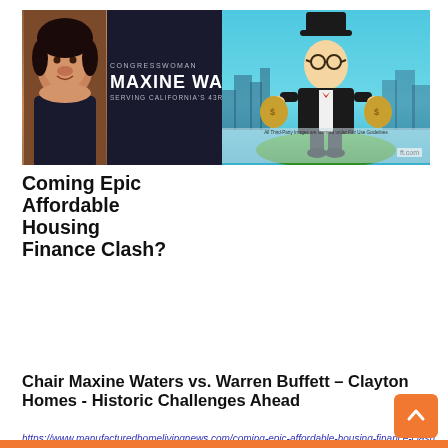[Figure (photo): Composite image: Left panel shows Congresswoman Maxine Waters banner with her photo on dark background, text reads 'CONGRESSWOMAN MAXINE WATERS SERVING CALIFORNIA'S 43RD DISTRICT'. Right panel shows MHLivingNews logo and a caricature illustration of Warren Buffett in top hat and suit standing on green platform against teal city skyline background, with 'ft.com' watermark.]
Coming Epic Affordable Housing Finance Clash?
Chair Maxine Waters vs. Warren Buffett – Clayton Homes - Historic Challenges Ahead
https://www.manufacturedhomelivingnews.com/coming-epic-affordable-housing-finance-clash-chair-maxine-waters-vs-warren-buffett-clayton-homes-historic-challenges-ahead/